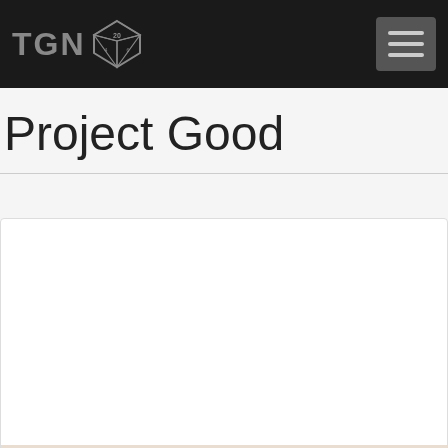TGN [dice logo] [hamburger menu]
Project Good
[Figure (photo): A card/article preview image partially visible at the bottom of the card area, showing what appears to be tabletop gaming related imagery with partial text overlay reading something like 'MANTECH' or similar, with illustrated characters.]